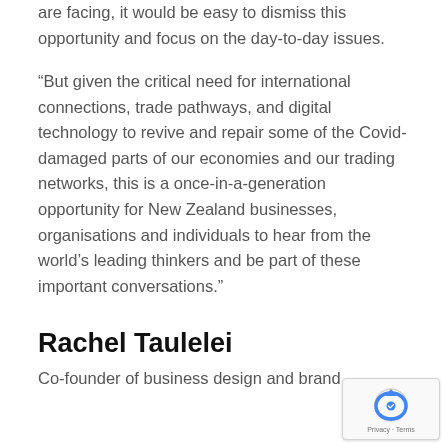are facing, it would be easy to dismiss this opportunity and focus on the day-to-day issues.
“But given the critical need for international connections, trade pathways, and digital technology to revive and repair some of the Covid-damaged parts of our economies and our trading networks, this is a once-in-a-generation opportunity for New Zealand businesses, organisations and individuals to hear from the world’s leading thinkers and be part of these important conversations.”
Rachel Taulelei
Co-founder of business design and brand